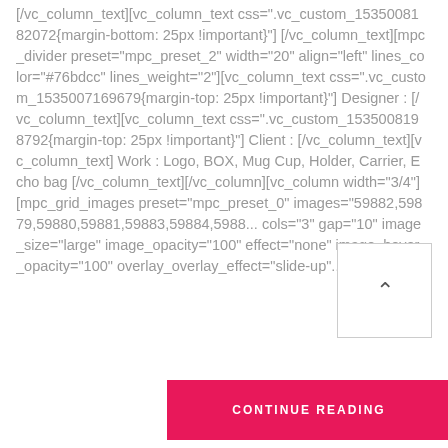[/vc_column_text][vc_column_text css=".vc_custom_1535008182072{margin-bottom: 25px !important}"] [/vc_column_text][mpc_divider preset="mpc_preset_2" width="20" align="left" lines_color="#76bdcc" lines_weight="2"][vc_column_text css=".vc_custom_1535007169679{margin-top: 25px !important}"] Designer : [/vc_column_text][vc_column_text css=".vc_custom_1535008198792{margin-top: 25px !important}"] Client : [/vc_column_text][vc_column_text] Work : Logo, BOX, Mug Cup, Holder, Carrier, Echo bag [/vc_column_text][/vc_column][vc_column width="3/4"][mpc_grid_images preset="mpc_preset_0" images="59882,59879,59880,59881,59883,59884,5988... cols="3" gap="10" image_size="large" image_opacity="100" effect="none" image_hover_opacity="100" overlay_overlay_effect="slide-up"....
[Figure (other): Scroll-to-top button with upward caret arrow icon, white background with grey border]
CONTINUE READING